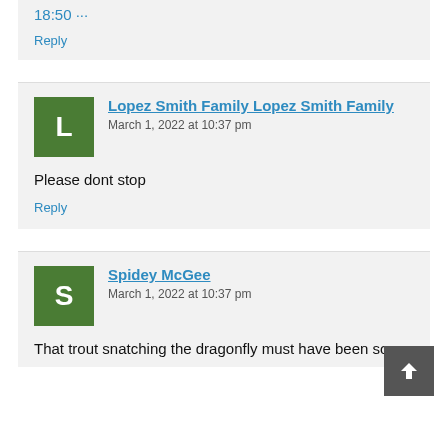18:50 ···
Reply
Lopez Smith Family Lopez Smith Family
March 1, 2022 at 10:37 pm
Please dont stop
Reply
Spidey McGee
March 1, 2022 at 10:37 pm
That trout snatching the dragonfly must have been so